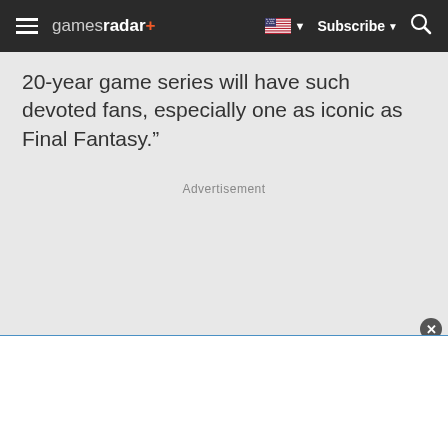gamesradar+ Subscribe
20-year game series will have such devoted fans, especially one as iconic as Final Fantasy.”
Advertisement